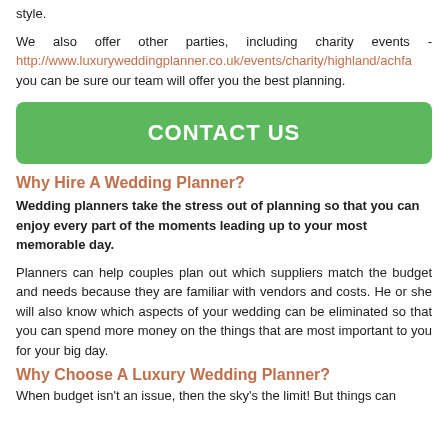style.
We also offer other parties, including charity events - http://www.luxuryweddingplanner.co.uk/events/charity/highland/achfa you can be sure our team will offer you the best planning.
[Figure (other): Green CONTACT US button]
Why Hire A Wedding Planner?
Wedding planners take the stress out of planning so that you can enjoy every part of the moments leading up to your most memorable day.
Planners can help couples plan out which suppliers match the budget and needs because they are familiar with vendors and costs. He or she will also know which aspects of your wedding can be eliminated so that you can spend more money on the things that are most important to you for your big day.
Why Choose A Luxury Wedding Planner?
When budget isn't an issue, then the sky's the limit! But things can